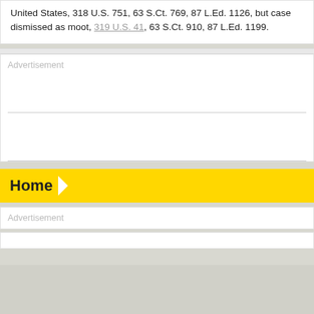United States, 318 U.S. 751, 63 S.Ct. 769, 87 L.Ed. 1126, but case dismissed as moot, 319 U.S. 41, 63 S.Ct. 910, 87 L.Ed. 1199.
[Figure (other): Advertisement placeholder box with two horizontal divider lines]
Home
[Figure (other): Advertisement placeholder box at bottom]
[Figure (other): Thin white bar element]
[Figure (other): Gray footer area]